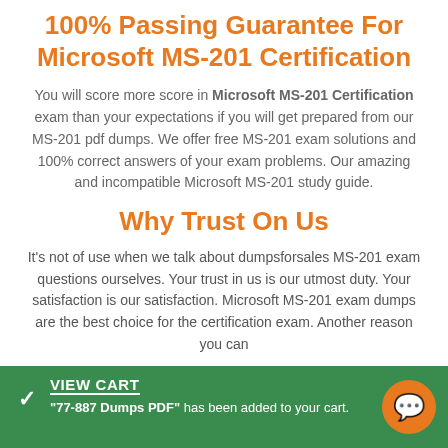100% Passing Guarantee For Microsoft MS-201 Certification
You will score more score in Microsoft MS-201 Certification exam than your expectations if you will get prepared from our MS-201 pdf dumps. We offer free MS-201 exam solutions and 100% correct answers of your exam problems. Our amazing and incompatible Microsoft MS-201 study guide.
Why Trust On Us
It’s not of use when we talk about dumpsforsales MS-201 exam questions ourselves. Your trust in us is our utmost duty. Your satisfaction is our satisfaction. Microsoft MS-201 exam dumps are the best choice for the certification exam. Another reason you can
VIEW CART “77-887 Dumps PDF” has been added to your cart.